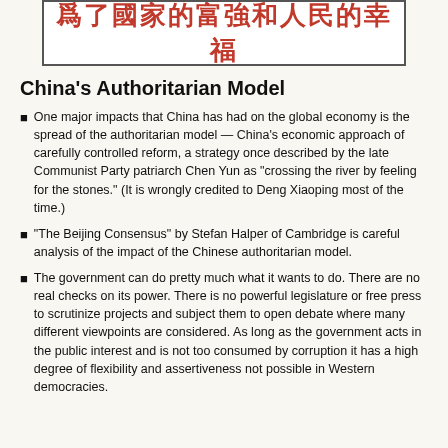[Figure (other): Banner image with Chinese characters reading '爲了國家的富強和人民的幸福' in red bold text on white background with border]
China's Authoritarian Model
One major impacts that China has had on the global economy is the spread of the authoritarian model — China's economic approach of carefully controlled reform, a strategy once described by the late Communist Party patriarch Chen Yun as "crossing the river by feeling for the stones." (It is wrongly credited to Deng Xiaoping most of the time.)
"The Beijing Consensus" by Stefan Halper of Cambridge is careful analysis of the impact of the Chinese authoritarian model.
The government can do pretty much what it wants to do. There are no real checks on its power. There is no powerful legislature or free press to scrutinize projects and subject them to open debate where many different viewpoints are considered. As long as the government acts in the public interest and is not too consumed by corruption it has a high degree of flexibility and assertiveness not possible in Western democracies.